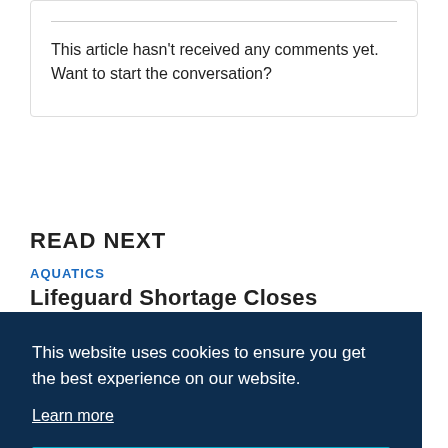This article hasn’t received any comments yet. Want to start the conversation?
READ NEXT
AQUATICS
Lifeguard Shortage Closes Community Pool for
This website uses cookies to ensure you get the best experience on our website.
Learn more
Got it!